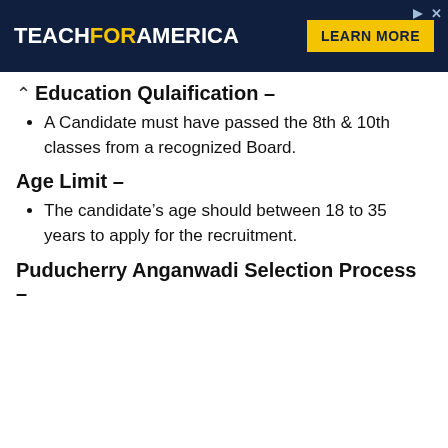[Figure (other): Teach For America advertisement banner with dark navy background, logo with FOR in yellow, and yellow LEARN MORE button]
Education Qulaification –
A Candidate must have passed the 8th & 10th classes from a recognized Board.
Age Limit –
The candidate's age should between 18 to 35 years to apply for the recruitment.
Puducherry Anganwadi Selection Process –